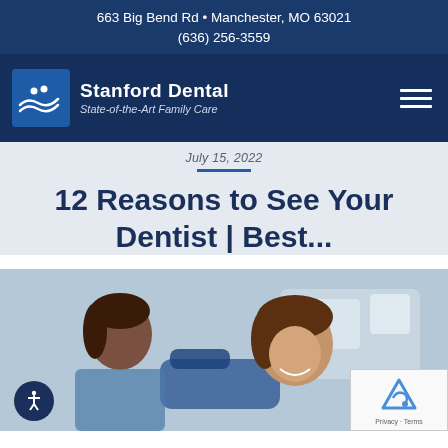663 Big Bend Rd • Manchester, MO 63021
(636) 256-3559
[Figure (logo): Stanford Dental logo with wave icon, text: Stanford Dental / State-of-the-Art Family Care]
July 15, 2022
12 Reasons to See Your Dentist | Best...
[Figure (photo): Dental office photo: a smiling female patient in a dental chair looking up at a dental professional; dental equipment visible in background]